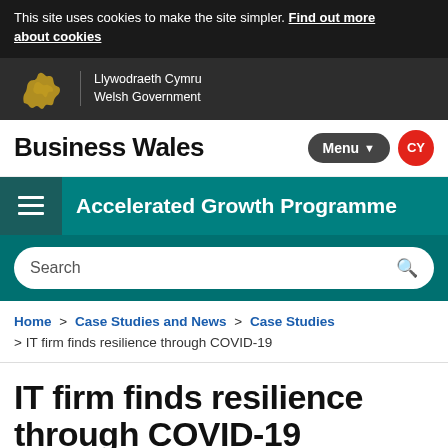This site uses cookies to make the site simpler. Find out more about cookies
[Figure (logo): Welsh Government dragon logo with text: Llywodraeth Cymru Welsh Government]
Business Wales | Menu ▼ | CY
Accelerated Growth Programme
Search
Home > Case Studies and News > Case Studies > IT firm finds resilience through COVID-19
IT firm finds resilience through COVID-19